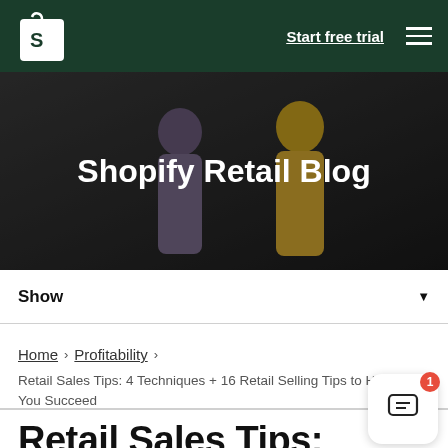Shopify logo — Start free trial — hamburger menu
[Figure (photo): Hero banner photo showing two people in a store environment with dark overlay and 'Shopify Retail Blog' title text]
Shopify Retail Blog
Show ▼
Home > Profitability > Retail Sales Tips: 4 Techniques + 16 Retail Selling Tips to Help You Succeed
Retail Sales Tips: 4